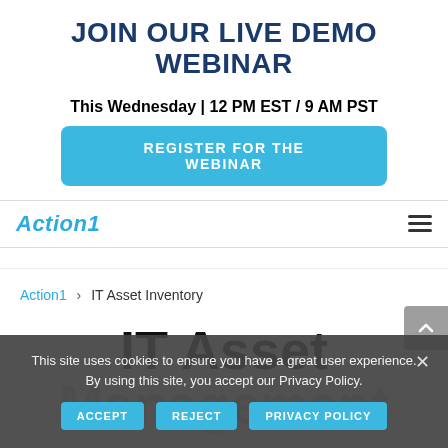JOIN OUR LIVE DEMO WEBINAR
This Wednesday | 12 PM EST / 9 AM PST
REGISTER FOR THE WEBINAR
Action1
Action1 > IT Asset Inventory
IT Asset
Management
This site uses cookies to ensure you have a great user experience. By using this site, you accept our Privacy Policy.
ACCEPT   REJECT   PRIVACY POLICY